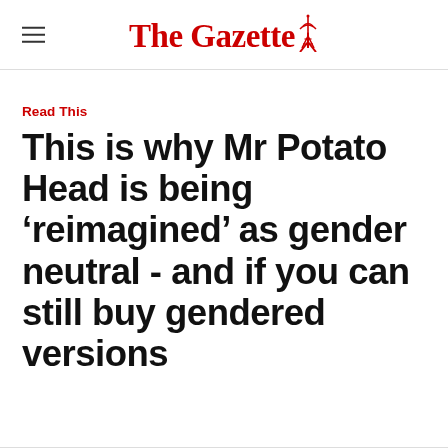The Gazette
Read This
This is why Mr Potato Head is being ‘reimagined’ as gender neutral - and if you can still buy gendered versions